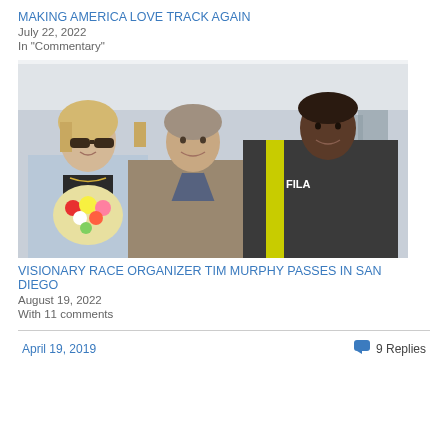MAKING AMERICA LOVE TRACK AGAIN
July 22, 2022
In "Commentary"
[Figure (photo): Three people posing together at an outdoor event under a tent. A woman with blonde hair and sunglasses on the left holding flowers, a man in the center, and a man on the right wearing a FILA jacket with a yellow stripe.]
VISIONARY RACE ORGANIZER TIM MURPHY PASSES IN SAN DIEGO
August 19, 2022
With 11 comments
April 19, 2019    9 Replies